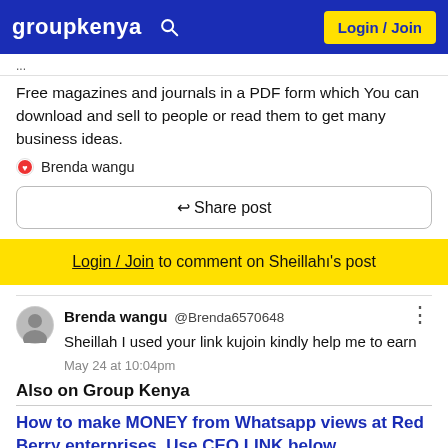groupkenya  Login / Join
Free magazines and journals in a PDF form which You can download and sell to people or read them to get many business ideas.
Brenda wangu
Share post
Login / Join to comment on Sheillahı's post
Brenda wangu @Brenda6570648
Sheillah I used your link kujoin kindly help me to earn
May 24 at 10:04pm
Also on Group Kenya
How to make MONEY from Whatsapp views at Red Berry enterprises. Use CEO LINK below